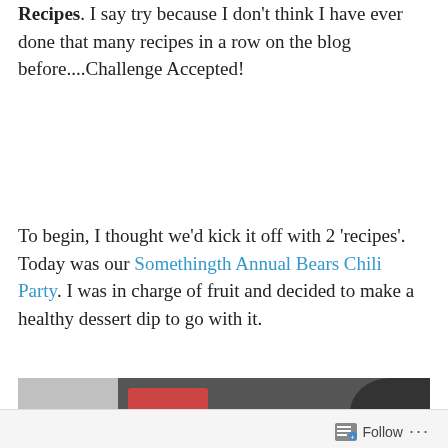Recipes.  I say try because I don't think I have ever done that many recipes in a row on the blog before....Challenge Accepted!
To begin, I thought we'd kick it off with 2 'recipes'.  Today was our Somethingth Annual Bears Chili Party.  I was in charge of fruit and decided to make a healthy dessert dip to go with it.
[Figure (photo): Partial photo showing food items including what appears to be fruit and a dark bowl, cropped at bottom of page]
Follow ...